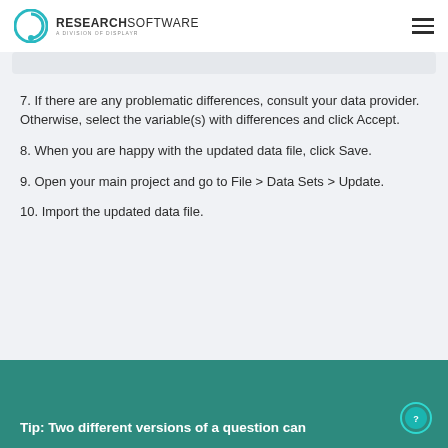RESEARCHSOFTWARE — A DIVISION OF DISPLAYR
7. If there are any problematic differences, consult your data provider. Otherwise, select the variable(s) with differences and click Accept.
8. When you are happy with the updated data file, click Save.
9. Open your main project and go to File > Data Sets > Update.
10. Import the updated data file.
Tip: Two different versions of a question can